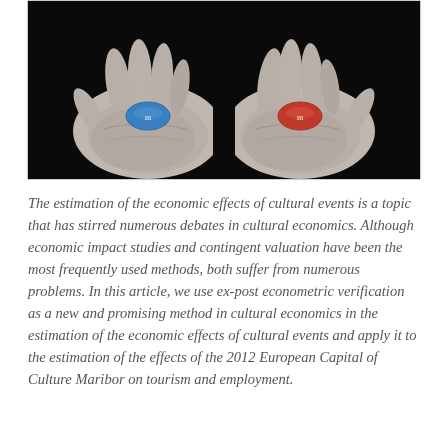[Figure (photo): Black and white photo of two open hands side by side, each holding a pill — a blue pill in the left hand and a red pill in the right hand, evoking the Matrix film reference.]
The estimation of the economic effects of cultural events is a topic that has stirred numerous debates in cultural economics. Although economic impact studies and contingent valuation have been the most frequently used methods, both suffer from numerous problems. In this article, we use ex-post econometric verification as a new and promising method in cultural economics in the estimation of the economic effects of cultural events and apply it to the estimation of the effects of the 2012 European Capital of Culture Maribor on tourism and employment.